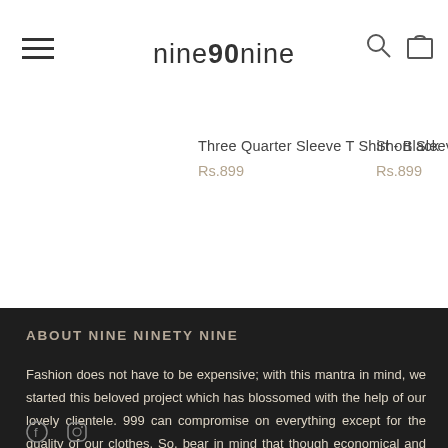nine90nine
Three Quarter Sleeve T Shirt - Black
Rs.899
Short Sleeve
Rs.899
ABOUT NINE NINETY NINE
Fashion does not have to be expensive; with this mantra in mind, we started this beloved project which has blossomed with the help of our lovely clientele. 999 can compromise on everything except for the quality of our clothes. So, bear in mind that though economical and budget-friendly, our quality is very premium.